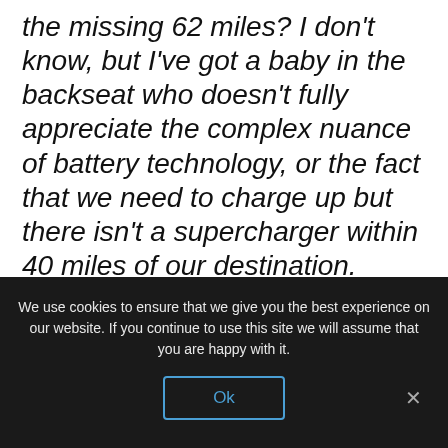the missing 62 miles? I don't know, but I've got a baby in the backseat who doesn't fully appreciate the complex nuance of battery technology, or the fact that we need to charge up but there isn't a supercharger within 40 miles of our destination. Which, by the way, is Vermont, not North Dakota. So we took a detour to the nearest Supercharge station in Lee, Massachusetts. Meanwhile, the temperature has dropped to minus 2 Farenheit. When it's this cold, a snow icon appears next to your battery
We use cookies to ensure that we give you the best experience on our website. If you continue to use this site we will assume that you are happy with it.